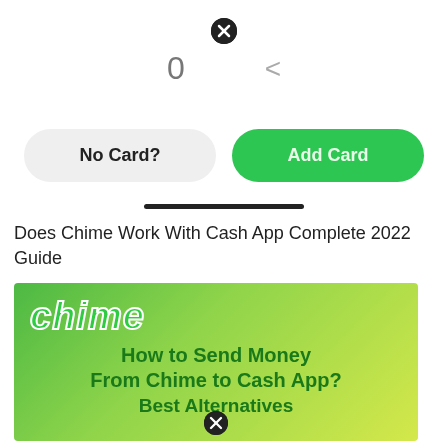[Figure (screenshot): Close/dismiss icon (black circle with X) centered at top of page]
0  <
[Figure (screenshot): Two buttons side by side: 'No Card?' (grey pill) and 'Add Card' (green pill)]
Does Chime Work With Cash App Complete 2022 Guide
[Figure (illustration): Green gradient banner with Chime logo and text: 'How to Send Money From Chime to Cash App? Best Alternatives']